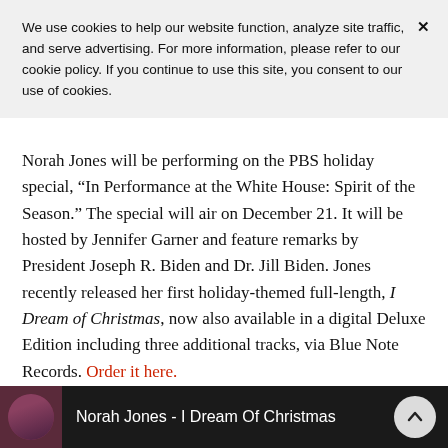We use cookies to help our website function, analyze site traffic, and serve advertising. For more information, please refer to our cookie policy. If you continue to use this site, you consent to our use of cookies.
Norah Jones will be performing on the PBS holiday special, “In Performance at the White House: Spirit of the Season.” The special will air on December 21. It will be hosted by Jennifer Garner and feature remarks by President Joseph R. Biden and Dr. Jill Biden. Jones recently released her first holiday-themed full-length, I Dream of Christmas, now also available in a digital Deluxe Edition including three additional tracks, via Blue Note Records. Order it here.
[Figure (screenshot): Video player thumbnail showing Norah Jones with text 'Norah Jones - I Dream Of Christmas' on a dark background, with a circular up-arrow button on the right.]